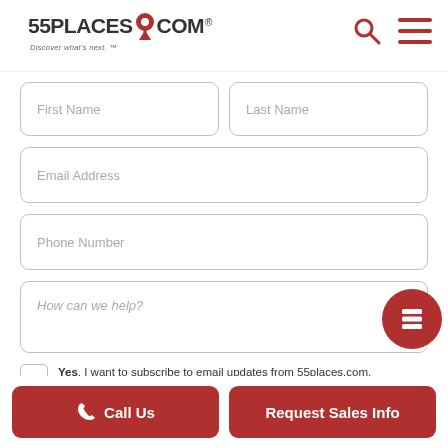[Figure (logo): 55places.com logo with red pin icon and tagline 'Discover what's next.']
[Figure (other): Search icon (magnifying glass) and hamburger menu icon in red on the right side of the header]
First Name
Last Name
Email Address
Phone Number
How can we help?
Yes, I want to subscribe to email updates from 55places.com,
Call Us
Request Sales Info